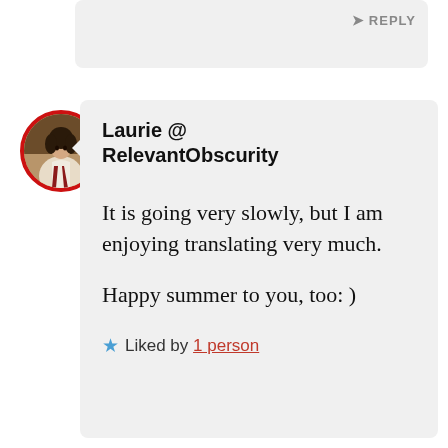REPLY
[Figure (illustration): Circular avatar with red border showing a classical painting of a woman in white dress]
Laurie @ RelevantObscurity
It is going very slowly, but I am enjoying translating very much.

Happy summer to you, too: )
Liked by 1 person